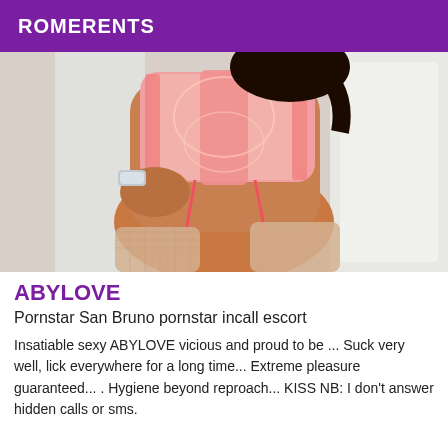ROMERENTS
[Figure (photo): Photo of a woman in a pink lace corset and stockings]
ABYLOVE
Pornstar San Bruno pornstar incall escort
Insatiable sexy ABYLOVE vicious and proud to be ... Suck very well, lick everywhere for a long time... Extreme pleasure guaranteed... . Hygiene beyond reproach... KISS NB: I don't answer hidden calls or sms.